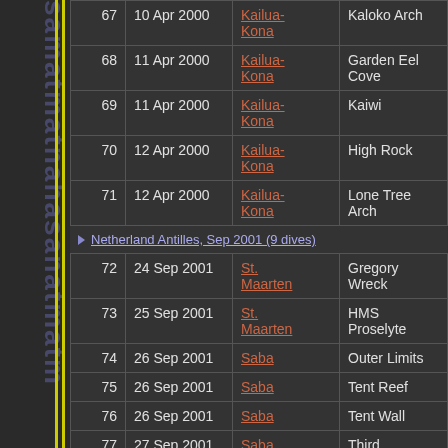| # | Date | Location | Site |
| --- | --- | --- | --- |
| 67 | 10 Apr 2000 | Kailua-Kona | Kaloko Arch |
| 68 | 11 Apr 2000 | Kailua-Kona | Garden Eel Cove |
| 69 | 11 Apr 2000 | Kailua-Kona | Kaiwi |
| 70 | 12 Apr 2000 | Kailua-Kona | High Rock |
| 71 | 12 Apr 2000 | Kailua-Kona | Lone Tree Arch |
Netherland Antilles, Sep 2001 (9 dives)
| # | Date | Location | Site |
| --- | --- | --- | --- |
| 72 | 24 Sep 2001 | St. Maarten | Gregory Wreck |
| 73 | 25 Sep 2001 | St. Maarten | HMS Proselyte |
| 74 | 26 Sep 2001 | Saba | Outer Limits |
| 75 | 26 Sep 2001 | Saba | Tent Reef |
| 76 | 26 Sep 2001 | Saba | Tent Wall |
| 77 | 27 Sep 2001 | Saba | Third |